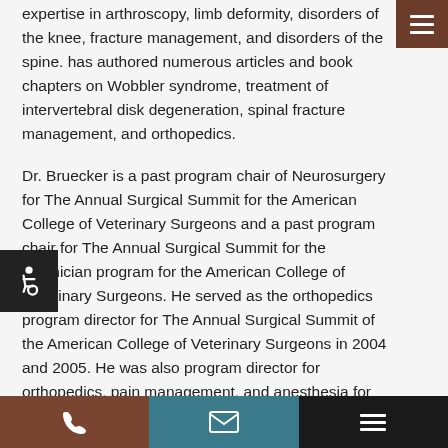expertise in arthroscopy, limb deformity, disorders of the knee, fracture management, and disorders of the spine. has authored numerous articles and book chapters on Wobbler syndrome, treatment of intervertebral disk degeneration, spinal fracture management, and orthopedics.
Dr. Bruecker is a past program chair of Neurosurgery for The Annual Surgical Summit for the American College of Veterinary Surgeons and a past program chair for The Annual Surgical Summit for the technician program for the American College of Veterinary Surgeons. He served as the orthopedics program director for The Annual Surgical Summit of the American College of Veterinary Surgeons in 2004 and 2005. He was also program director for orthopedics, pain management, and anesthesia for the 2006 American Veterinary Medical Association annual symposium. He is the Co-Chair for